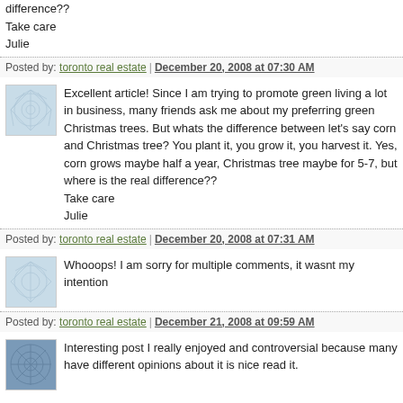difference??
Take care
Julie
Posted by: toronto real estate | December 20, 2008 at 07:30 AM
Excellent article! Since I am trying to promote green living a lot in business, many friends ask me about my preferring green Christmas trees. But whats the difference between let's say corn and Christmas tree? You plant it, you grow it, you harvest it. Yes, corn grows maybe half a year, Christmas tree maybe for 5-7, but where is the real difference??
Take care
Julie
Posted by: toronto real estate | December 20, 2008 at 07:31 AM
Whooops! I am sorry for multiple comments, it wasnt my intention
Posted by: toronto real estate | December 21, 2008 at 09:59 AM
Interesting post I really enjoyed and controversial because many have different opinions about it is nice read it.